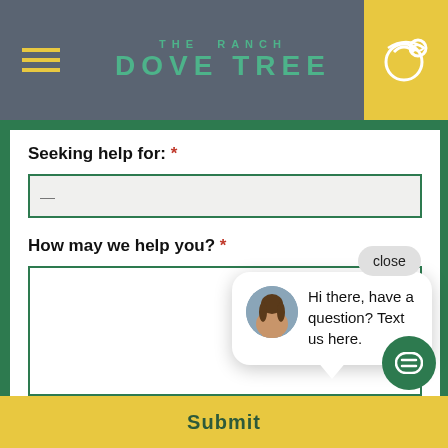THE RANCH DOVE TREE
Seeking help for: *
How may we help you? *
Concerns a... can be addressed through the Joint Commission's website or by contacting us at (800) 218-6727.
[Figure (screenshot): Chat popup with avatar photo of woman and text: Hi there, have a question? Text us here. With close button above.]
Submit